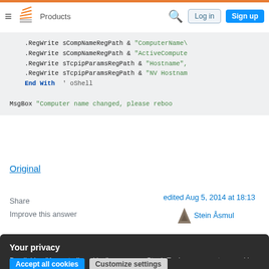Stack Overflow navigation bar with Products, Search, Log in, Sign up
.RegWrite sCompNameRegPath & "ComputerName\
.RegWrite sCompNameRegPath & "ActiveCompute
.RegWrite sTcpipParamsRegPath & "Hostname",
.RegWrite sTcpipParamsRegPath & "NV Hostnam
End With ' oShell

MsgBox "Computer name changed, please reboo
Original
Share
Improve this answer
edited Aug 5, 2014 at 18:13
Stein Åsmul
Your privacy
By clicking "Accept all cookies", you agree Stack Exchange can store cookies on your device and disclose information in accordance with our Cookie Policy.
Accept all cookies   Customize settings
Here's another way of doing it with a WMI script: